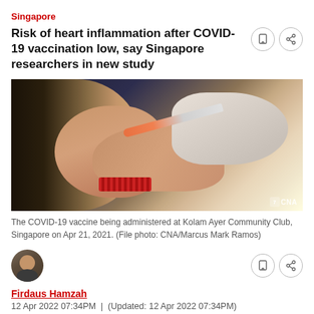Singapore
Risk of heart inflammation after COVID-19 vaccination low, say Singapore researchers in new study
[Figure (photo): Close-up photo of a COVID-19 vaccine being administered into a person's arm. A gloved hand holds the syringe. The person has a patterned bracelet on their wrist. CNA watermark visible in bottom right.]
The COVID-19 vaccine being administered at Kolam Ayer Community Club, Singapore on Apr 21, 2021. (File photo: CNA/Marcus Mark Ramos)
Firdaus Hamzah
12 Apr 2022 07:34PM  |  (Updated: 12 Apr 2022 07:34PM)